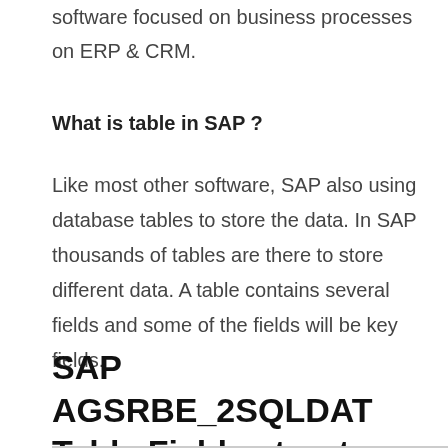software focused on business processes on ERP & CRM.
What is table in SAP ?
Like most other software, SAP also using database tables to store the data. In SAP thousands of tables are there to store different data. A table contains several fields and some of the fields will be key fields.
SAP AGSRBE_2SQLDAT Table Fields structure